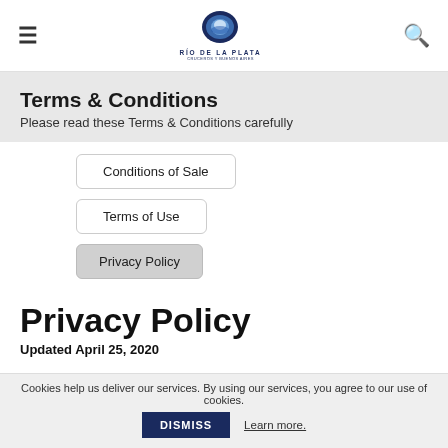≡  RÍO DE LA PLATA  🔍
Terms & Conditions
Please read these Terms & Conditions carefully
Conditions of Sale
Terms of Use
Privacy Policy
Privacy Policy
Updated April 25, 2020
Cookies help us deliver our services. By using our services, you agree to our use of cookies.  DISMISS  Learn more.